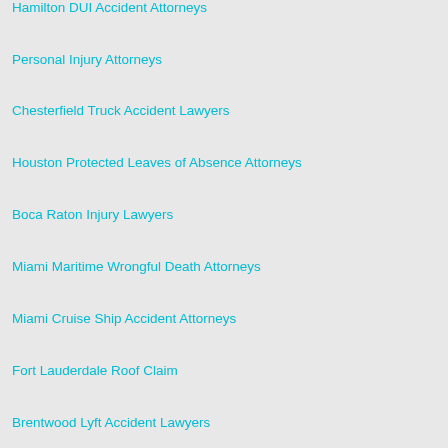Hamilton DUI Accident Attorneys
Personal Injury Attorneys
Chesterfield Truck Accident Lawyers
Houston Protected Leaves of Absence Attorneys
Boca Raton Injury Lawyers
Miami Maritime Wrongful Death Attorneys
Miami Cruise Ship Accident Attorneys
Fort Lauderdale Roof Claim
Brentwood Lyft Accident Lawyers